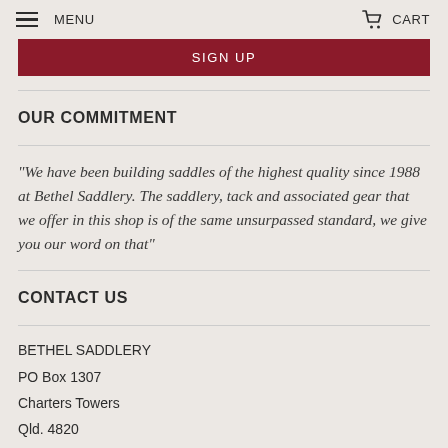MENU  CART
SIGN UP
OUR COMMITMENT
"We have been building saddles of the highest quality since 1988 at Bethel Saddlery. The saddlery, tack and associated gear that we offer in this shop is of the same unsurpassed standard, we give you our word on that"
CONTACT US
BETHEL SADDLERY
PO Box 1307
Charters Towers
Qld. 4820
0439 111 769